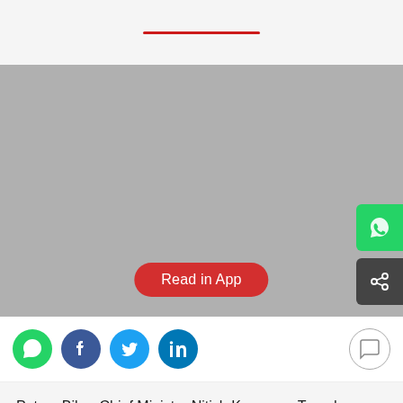[Figure (photo): Gray placeholder image area with a red 'Read in App' button overlay and floating WhatsApp and share buttons on the right edge.]
[Figure (infographic): Social sharing bar with WhatsApp (green), Facebook (dark blue), Twitter (cyan), LinkedIn (blue) icons and a comment icon on the right.]
Patna: Bihar Chief Minister Nitish Kumar on Tuesday visited the flood relief camps set up at Krishna Memorial hall here and said